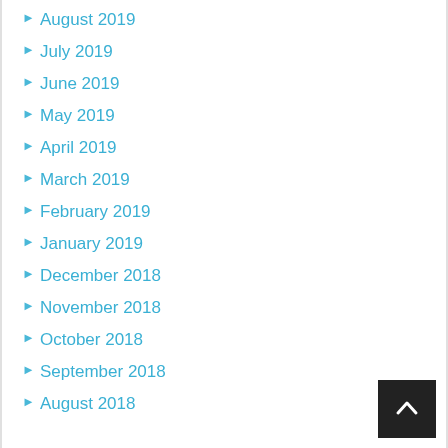August 2019
July 2019
June 2019
May 2019
April 2019
March 2019
February 2019
January 2019
December 2018
November 2018
October 2018
September 2018
August 2018